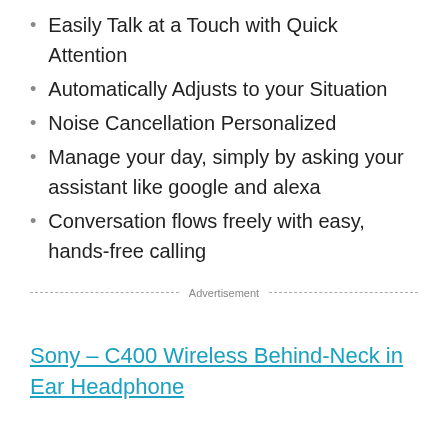Easily Talk at a Touch with Quick Attention
Automatically Adjusts to your Situation
Noise Cancellation Personalized
Manage your day, simply by asking your assistant like google and alexa
Conversation flows freely with easy, hands-free calling
Advertisement
Sony – C400 Wireless Behind-Neck in Ear Headphone